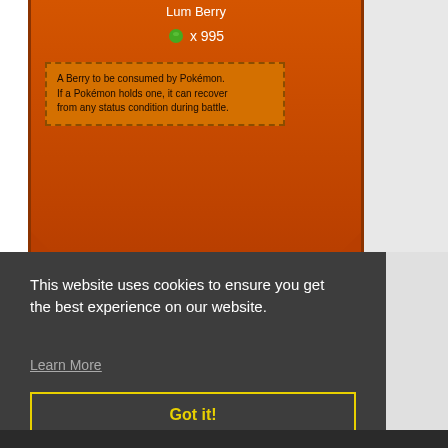[Figure (screenshot): Pokemon game screenshot showing Lum Berry item screen with orange/brown background. Shows 'Lum Berry' title at top, a green berry icon with 'x 995' count, and a description box reading: 'A Berry to be consumed by Pokémon. If a Pokémon holds one, it can recover from any status condition during battle.']
This website uses cookies to ensure you get the best experience on our website.
Learn More
BACK TO SEND-IN SERVICES
Got it!